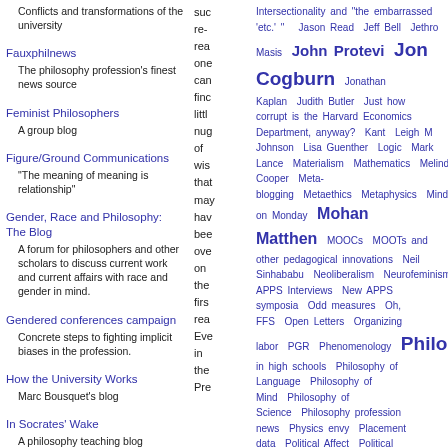Conflicts and transformations of the university
Fauxphilnews
  The philosophy profession's finest news source
Feminist Philosophers
  A group blog
Figure/Ground Communications
  "The meaning of meaning is relationship"
Gender, Race and Philosophy: The Blog
  A forum for philosophers and other scholars to discuss current work and current affairs with race and gender in mind.
Gendered conferences campaign
  Concrete steps to fighting implicit biases in the profession.
How the University Works
  Marc Bousquet's blog
In Socrates' Wake
  A philosophy teaching blog
Life and Mind (Sussex)
suc re- rea one can finc littl nug of wis that may hav bee ove on the firs rea Eve in the Pre
Intersectionality and "the embarrassed 'etc.' " Jason Read Jeff Bell Jethro Masis John Protevi Jon Cogburn Jonathan Kaplan Judith Butler Just how corrupt is the Harvard Economics Department, anyway? Kant Leigh M Johnson Lisa Guenther Logic Mark Lance Materialism Mathematics Melinda Cooper Meta-blogging Metaethics Metaphysics Minds on Monday Mohan Matthen MOOCs MOOTs and other pedagogical innovations Neil Sinhababu Neoliberalism Neurofeminism Neuroscience New APPS Interviews New APPS symposia Odd measures Oh, FFS Open Letters Organizing labor PGR Phenomenology Philosophy Philosophy in high schools Philosophy of Language Philosophy of Mind Philosophy of Science Philosophy profession news Physics envy Placement data Political Affect Political Economy Political Economy of higher education Political murders Politics Prisons Privacy Psychology punkrockmonday Race, (anti-)racism, race theory Racism Religion Retractions Reviews Roberta Millstein Salaita